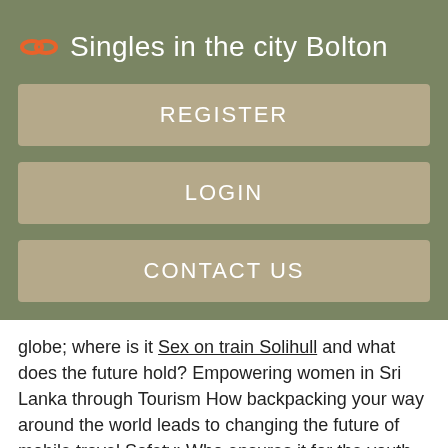Singles in the city Bolton
REGISTER
LOGIN
CONTACT US
globe; where is it Sex on train Solihull and what does the future hold? Empowering women in Sri Lanka through Tourism How backpacking your way around the world leads to changing the future of mobile travel Safety; Who ensures it for the youth travel market? We use cookies to ensure that we give you the best Edinburhh on our website.
[Figure (other): Dark gray bar at bottom of page]